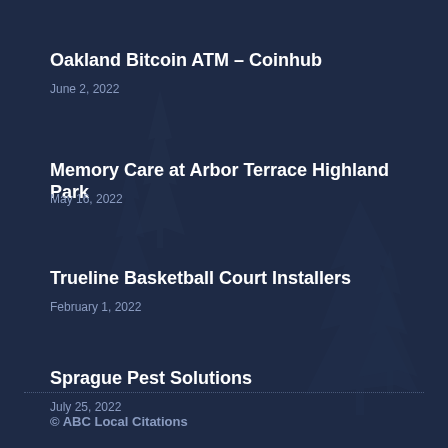Oakland Bitcoin ATM – Coinhub
June 2, 2022
Memory Care at Arbor Terrace Highland Park
May 16, 2022
Trueline Basketball Court Installers
February 1, 2022
Sprague Pest Solutions
July 25, 2022
© ABC Local Citations